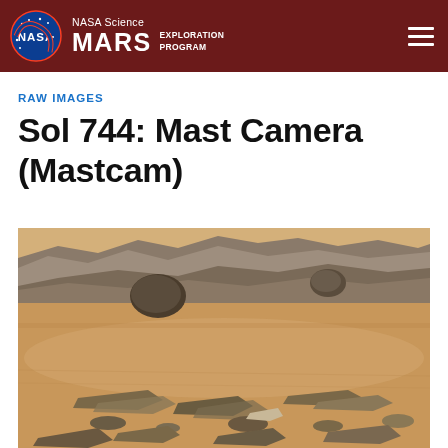NASA Science MARS EXPLORATION PROGRAM
RAW IMAGES
Sol 744: Mast Camera (Mastcam)
[Figure (photo): Raw image from Mars surface taken by Mastcam on Sol 744 — showing rocky Martian terrain with layered rock formations, sandy reddish-tan soil, scattered rock fragments in foreground, and a rocky ridge/cliff visible in the background under a lighter sky.]